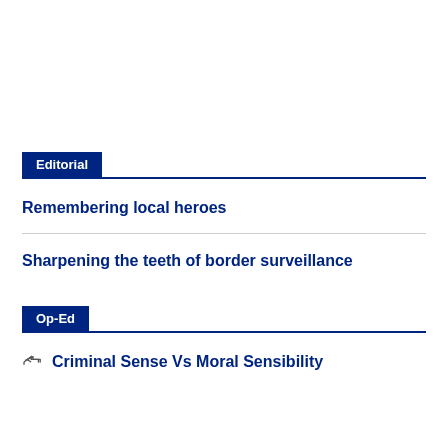Editorial
Remembering local heroes
Sharpening the teeth of border surveillance
Op-Ed
Criminal Sense Vs Moral Sensibility